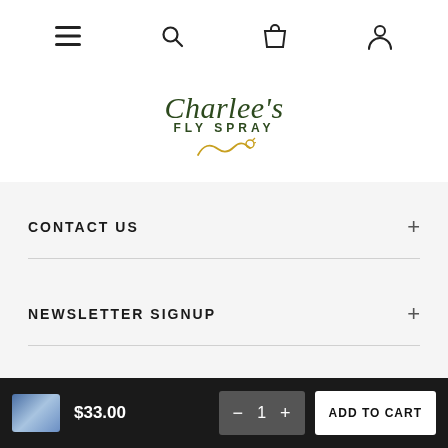[Figure (screenshot): Navigation bar with hamburger menu, search icon, shopping bag icon, and user account icon]
[Figure (logo): Charlee's Fly Spray logo with decorative swirl and dragonfly]
CONTACT US
NEWSLETTER SIGNUP
[Figure (other): Social media icons: Facebook, Twitter, Instagram in green]
$33.00
ADD TO CART